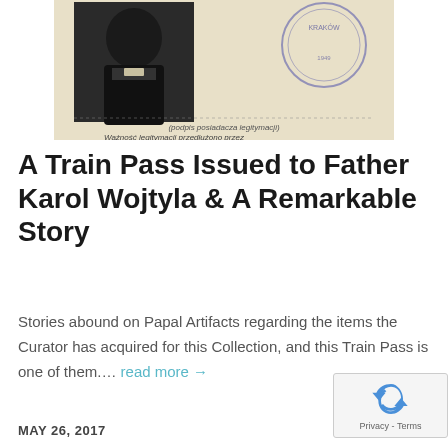[Figure (photo): Old photograph/ID document showing a young man (Father Karol Wojtyla) in dark clerical clothing, with a circular official stamp and Polish text including '(podpis posiadacza legitymacji)' and 'Ważność legitymacji przedłużono przez' visible at the bottom of the document]
A Train Pass Issued to Father Karol Wojtyla & A Remarkable Story
Stories abound on Papal Artifacts regarding the items the Curator has acquired for this Collection, and this Train Pass is one of them.... read more →
MAY 26, 2017